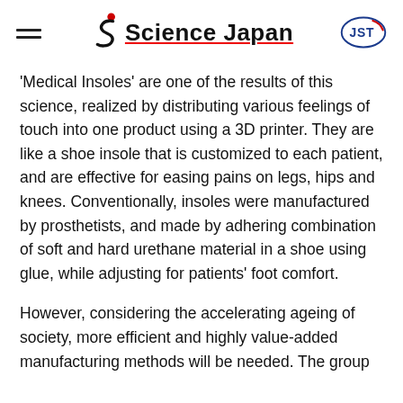Science Japan
'Medical Insoles' are one of the results of this science, realized by distributing various feelings of touch into one product using a 3D printer. They are like a shoe insole that is customized to each patient, and are effective for easing pains on legs, hips and knees. Conventionally, insoles were manufactured by prosthetists, and made by adhering combination of soft and hard urethane material in a shoe using glue, while adjusting for patients' foot comfort.
However, considering the accelerating ageing of society, more efficient and highly value-added manufacturing methods will be needed. The group